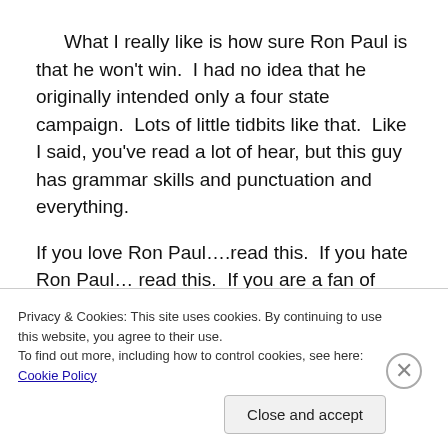What I really like is how sure Ron Paul is that he won't win.  I had no idea that he originally intended only a four state campaign.  Lots of little tidbits like that.  Like I said, you've read a lot of hear, but this guy has grammar skills and punctuation and everything.
If you love Ron Paul….read this.  If you hate Ron Paul… read this.  If you are a fan of good
Privacy & Cookies: This site uses cookies. By continuing to use this website, you agree to their use.
To find out more, including how to control cookies, see here: Cookie Policy